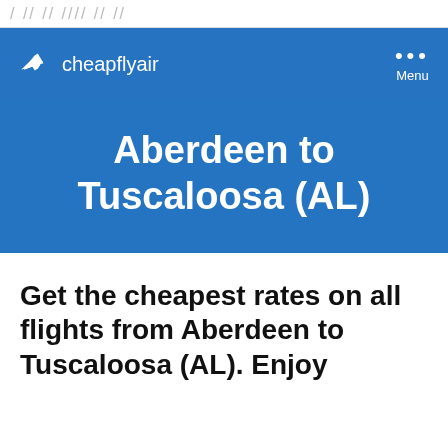/ // // //// // //
[Figure (logo): CheapFlyAir logo with plane icon and site name, plus Menu button with three dots]
Aberdeen to Tuscaloosa (AL)
Get the cheapest rates on all flights from Aberdeen to Tuscaloosa (AL). Enjoy